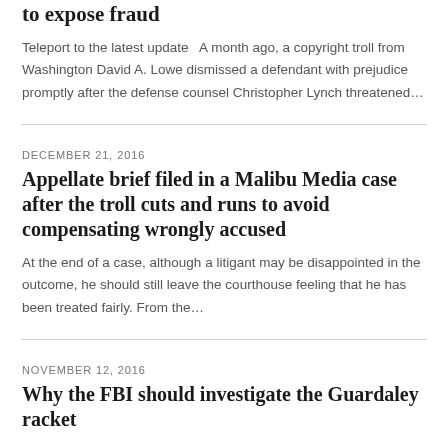to expose fraud
Teleport to the latest update   A month ago, a copyright troll from Washington David A. Lowe dismissed a defendant with prejudice promptly after the defense counsel Christopher Lynch threatened…
DECEMBER 21, 2016
Appellate brief filed in a Malibu Media case after the troll cuts and runs to avoid compensating wrongly accused
At the end of a case, although a litigant may be disappointed in the outcome, he should still leave the courthouse feeling that he has been treated fairly. From the…
NOVEMBER 12, 2016
Why the FBI should investigate the Guardaley racket